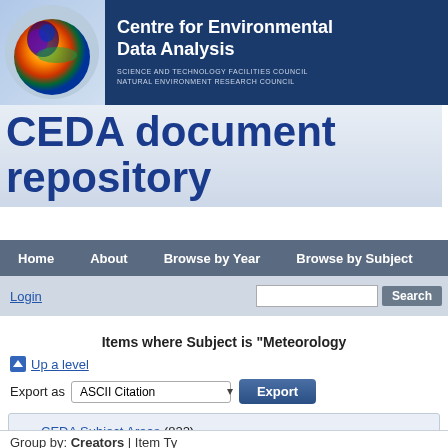[Figure (logo): Centre for Environmental Data Analysis logo with globe and institution name]
CEDA document repository
Home  About  Browse by Year  Browse by Subject
Login  [search box]  Search
Items where Subject is "Meteorology
Up a level
Export as ASCII Citation  Export
CEDA Subject Areas (822)
Meteorology and Climatology (499)
Group by: Creators | Item Ty